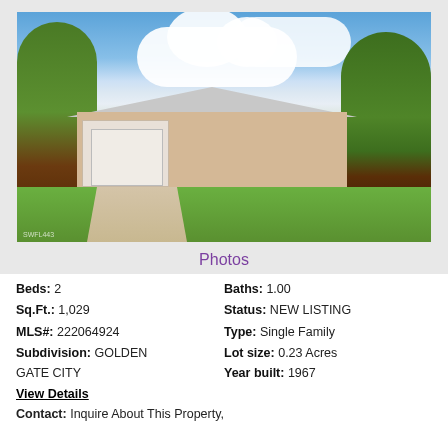[Figure (photo): Exterior photo of a single-family ranch-style home with white garage door, tan/pink exterior, green lawn, large trees on either side, and a blue sky with white clouds.]
Photos
Beds: 2
Baths: 1.00
Sq.Ft.: 1,029
Status: NEW LISTING
MLS#: 222064924
Type: Single Family
Subdivision: GOLDEN GATE CITY
Lot size: 0.23 Acres
Year built: 1967
View Details
Contact: Inquire About This Property,